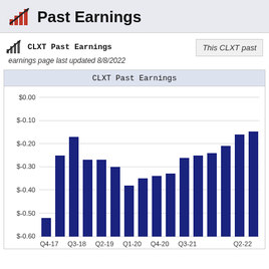Past Earnings
CLXT Past Earnings   This CLXT past
earnings page last updated 8/8/2022
[Figure (bar-chart): CLXT Past Earnings]